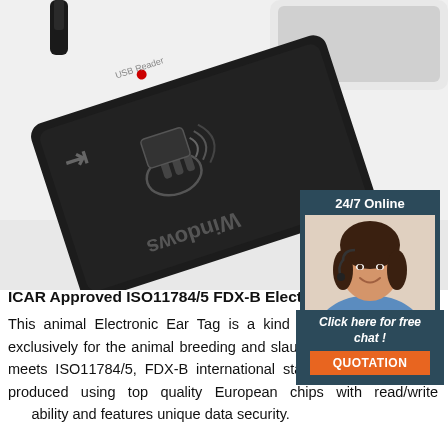[Figure (photo): A black USB RFID card reader with Windows logo and NFC symbol, connected via USB cable, placed on a white surface with a white laptop visible in the background. The reader is oriented at an angle showing the face with Windows branding.]
[Figure (photo): 24/7 Online chat widget sidebar showing a smiling customer service agent wearing a headset and blue shirt, with dark navy background, 'Click here for free chat!' text in italic, and an orange QUOTATION button.]
ICAR Approved ISO11784/5 FDX-B Electronic Ear Tag
This animal Electronic Ear Tag is a kind of tag that designed exclusively for the animal breeding and slaughter management. It meets ISO11784/5, FDX-B international standards. Each tag is produced using top quality European chips with read/write capability and features unique data security.